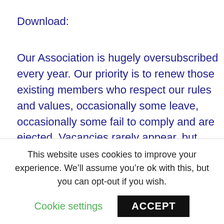Download:
Our Association is hugely oversubscribed every year. Our priority is to renew those existing members who respect our rules and values, occasionally some leave, occasionally some fail to comply and are ejected. Vacancies rarely appear, but when they do………..
We operate a yearly Application For Membership Form. This is available for completion between January 1st, and March 14th each year. It is not a “rolling list”, and after
This website uses cookies to improve your experience. We’ll assume you’re ok with this, but you can opt-out if you wish.
Cookie settings
ACCEPT